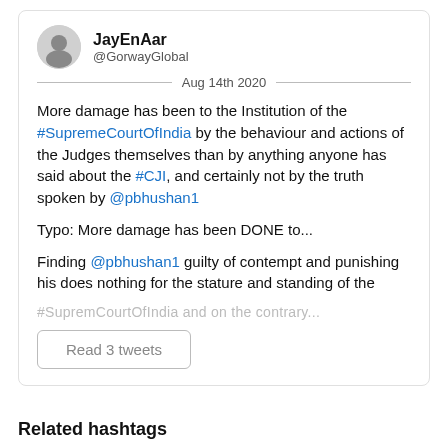JayEnAar @GorwayGlobal Aug 14th 2020
More damage has been to the Institution of the #SupremeCourtOfIndia by the behaviour and actions of the Judges themselves than by anything anyone has said about the #CJI, and certainly not by the truth spoken by @pbhushan1
Typo: More damage has been DONE to...
Finding @pbhushan1 guilty of contempt and punishing his does nothing for the stature and standing of the #SupremCourtOfIndia and on the contrary...
Read 3 tweets
Related hashtags